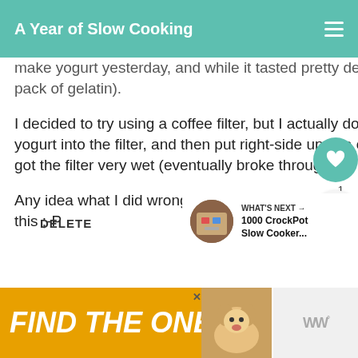A Year of Slow Cooking
make yogurt yesterday, and while it tasted pretty decent it was very liquidy (even with a pack of gelatin).
I decided to try using a coffee filter, but I actually don't know how that works. Poured some yogurt into the filter, and then put right-side up in a cup to drain. It didn't really drain, and just got the filter very wet (eventually broke through the filter).
Any idea what I did wrong? Can you tell I don't drink coffee and have no idea how to use this ;-P
DELETE
WHAT'S NEXT → 1000 CrockPot Slow Cooker...
[Figure (screenshot): Ad banner: FIND THE ONE with dog image and WW logo]